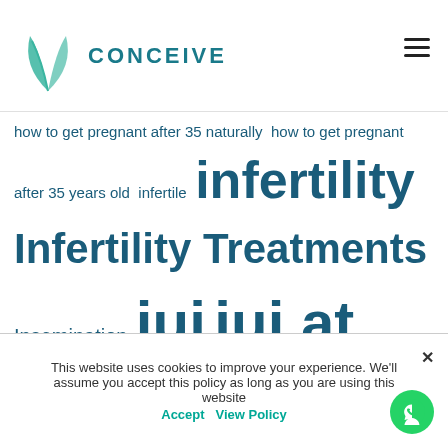CONCEIVE
[Figure (other): Tag cloud of fertility and infertility related search terms in varying font sizes and teal/dark blue colors]
This website uses cookies to improve your experience. We'll assume you accept this policy as long as you are using this website Accept View Policy